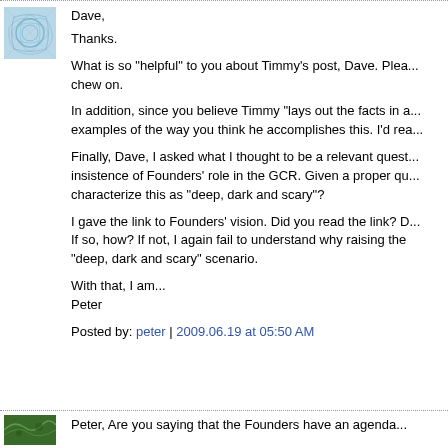Dave,

Thanks.

What is so "helpful" to you about Timmy's post, Dave. Plea... chew on.

In addition, since you believe Timmy "lays out the facts in a... examples of the way you think he accomplishes this. I'd rea...

Finally, Dave, I asked what I thought to be a relevant quest... insistence of Founders' role in the GCR. Given a proper qu... characterize this as "deep, dark and scary"?

I gave the link to Founders' vision. Did you read the link? D... If so, how? If not, I again fail to understand why raising the "deep, dark and scary" scenario.

With that, I am...
Peter

Posted by: peter | 2009.06.19 at 05:50 AM
Peter, Are you saying that the Founders have an agenda...